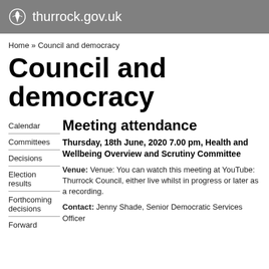thurrock.gov.uk
Home » Council and democracy
Council and democracy
Meeting attendance
Thursday, 18th June, 2020 7.00 pm, Health and Wellbeing Overview and Scrutiny Committee
Calendar
Committees
Decisions
Election results
Forthcoming decisions
Forward
Venue:   Venue: You can watch this meeting at YouTube: Thurrock Council, either live whilst in progress or later as a recording.
Contact:    Jenny Shade, Senior Democratic Services Officer